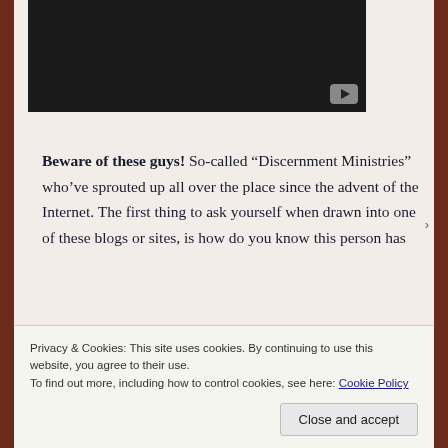[Figure (screenshot): Dark video player thumbnail with a gray play button icon in the bottom-right corner]
Beware of these guys! So-called “Discernment Ministries” who’ve sprouted up all over the place since the advent of the Internet. The first thing to ask yourself when drawn into one of these blogs or sites, is how do you know this person has
Privacy & Cookies: This site uses cookies. By continuing to use this website, you agree to their use.
To find out more, including how to control cookies, see here: Cookie Policy
Close and accept